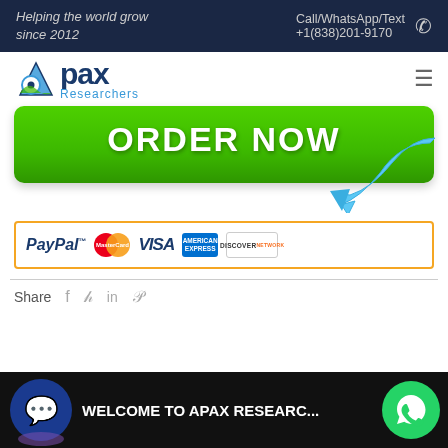Helping the world grow since 2012  Call/WhatsApp/Text +1(838)201-9170
[Figure (logo): Apax Researchers logo with mountain/leaf icon and blue text]
[Figure (infographic): Green ORDER NOW button with blue arrow pointing at it]
[Figure (infographic): PayPal accepted payment methods banner with MasterCard, Visa, Amex, Discover]
Share
[Figure (infographic): Bottom bar with chat bubble icon, WELCOME TO APAX RESEARC... text, and WhatsApp icon]